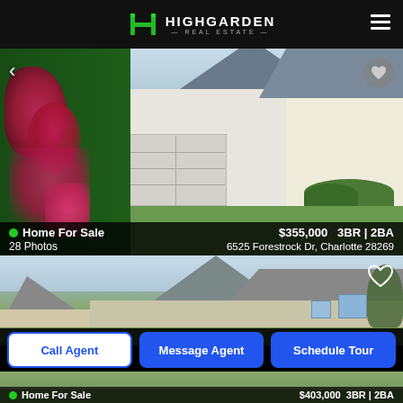HIGHGARDEN REAL ESTATE
[Figure (photo): Exterior photo of a suburban house with white siding, attached garage, and red flowering bushes in foreground]
● Home For Sale    $355,000   3BR | 2BA
28 Photos    6525 Forestrock Dr, Charlotte 28269
[Figure (photo): Exterior photo of a two-story house with gray siding and dark shingle roof]
Call Agent   Message Agent   Schedule Tour
[Figure (photo): Partial view of another house listing at bottom of screen]
● Home For Sale    $403,000   3BR | 2BA